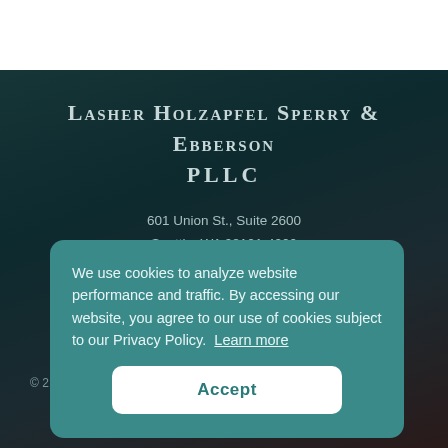Lasher Holzapfel Sperry & Ebberson PLLC
601 Union St., Suite 2600
Seattle, WA 98101-4000
Phone: (206) 624-1230
We use cookies to analyze website performance and traffic. By accessing our website, you agree to our use of cookies subject to our Privacy Policy. Learn more
Accept
© 2